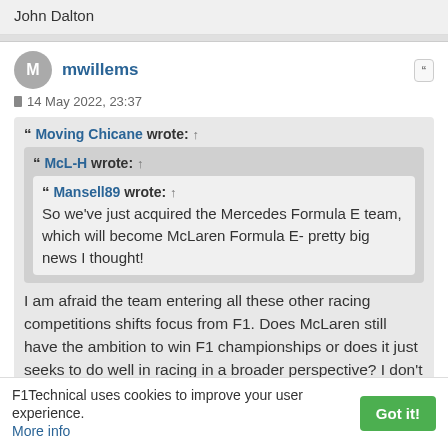John Dalton
mwillems
14 May 2022, 23:37
Moving Chicane wrote: ↑
McL-H wrote: ↑
Mansell89 wrote: ↑
So we've just acquired the Mercedes Formula E team, which will become McLaren Formula E- pretty big news I thought!
I am afraid the team entering all these other racing competitions shifts focus from F1. Does McLaren still have the ambition to win F1 championships or does it just seeks to do well in racing in a broader perspective? I don't care about the brand winning
F1Technical uses cookies to improve your user experience.
More info
Got it!